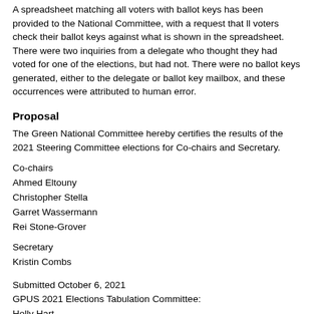A spreadsheet matching all voters with ballot keys has been provided to the National Committee, with a request that ll voters check their ballot keys against what is shown in the spreadsheet. There were two inquiries from a delegate who thought they had voted for one of the elections, but had not. There were no ballot keys generated, either to the delegate or ballot key mailbox, and these occurrences were attributed to human error.
Proposal
The Green National Committee hereby certifies the results of the 2021 Steering Committee elections for Co-chairs and Secretary.
Co-chairs
Ahmed Eltouny
Christopher Stella
Garret Wassermann
Rei Stone-Grover
Secretary
Kristin Combs
Submitted October 6, 2021
GPUS 2021 Elections Tabulation Committee:
Holly Hart
David Gerry
Darryl! Moch
Resources